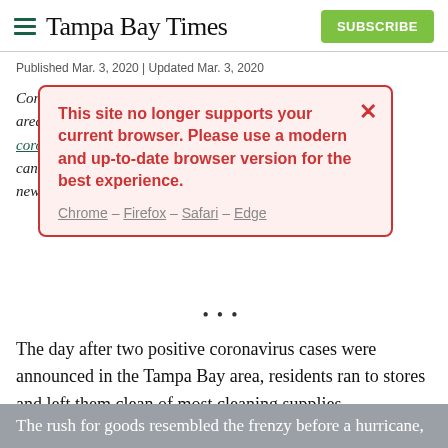Tampa Bay Times
Published Mar. 3, 2020 | Updated Mar. 3, 2020
[Figure (screenshot): Browser compatibility warning modal overlay on Tampa Bay Times website. Modal text: 'This site no longer supports your current browser. Please use a modern and up-to-date browser version for the best experience.' with links: Chrome – Firefox – Safari – Edge. Behind the modal is partially visible italic article text about coronavirus in the Tampa Bay area.]
The day after two positive coronavirus cases were announced in the Tampa Bay area, residents ran to stores and left them clean of most cleaning supplies.
The rush for goods resembled the frenzy before a hurricane,